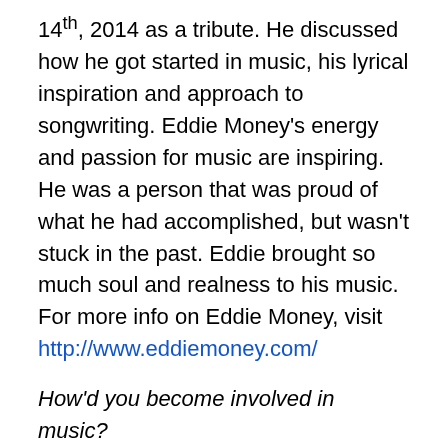14th, 2014 as a tribute. He discussed how he got started in music, his lyrical inspiration and approach to songwriting. Eddie Money's energy and passion for music are inspiring. He was a person that was proud of what he had accomplished, but wasn't stuck in the past. Eddie brought so much soul and realness to his music. For more info on Eddie Money, visit http://www.eddiemoney.com/
How'd you become involved in music?
I was in a rock band in high school. I get out of high school and I joined the police department. Being a cop, it's not an easy job. I did pretty good in the academy. I looked at my old man, who was a cop for 29 years. I just didn't want to be in uniform for 20 years of my life.
I should have joined the Marine Corps, like my brother. My heart goes out to emergency service workers and the